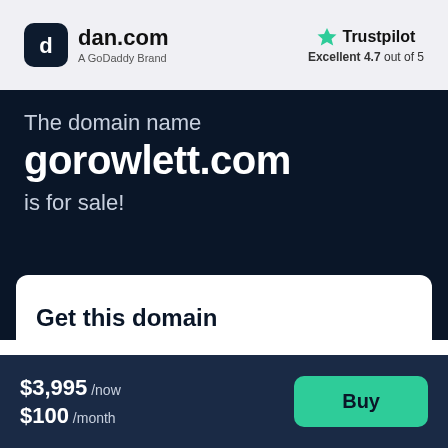[Figure (logo): dan.com logo — rounded square dark icon with 'd' letter and text 'dan.com' with subtitle 'A GoDaddy Brand']
[Figure (logo): Trustpilot logo with green star and text 'Trustpilot', rating 'Excellent 4.7 out of 5']
The domain name
gorowlett.com
is for sale!
Get this domain
$3,995 /now $100 /month
Buy